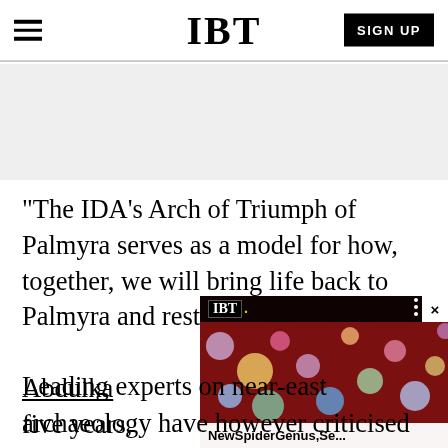IBT | SIGN UP
[Figure (other): Gray advertisement banner area]
"The IDA's Arch of Triumph of Palmyra serves as a model for how, together, we will bring life back to Palmyra and restore the site against terrorism," Abdulka would take only five years,
[Figure (screenshot): IBT video popup showing a person with face paint and colorful circles background, with title 'NewSpiderGenus,Se...']
Leading experts on near-east archaeology have however criticised the approach, wary of the